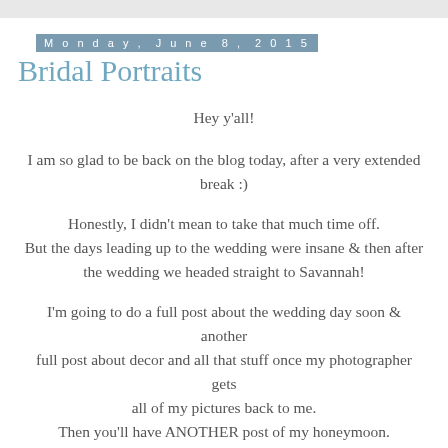Monday, June 8, 2015
Bridal Portraits
Hey y'all!
I am so glad to be back on the blog today, after a very extended break :)
Honestly, I didn't mean to take that much time off. But the days leading up to the wedding were insane & then after the wedding we headed straight to Savannah!
I'm going to do a full post about the wedding day soon & another full post about decor and all that stuff once my photographer gets all of my pictures back to me. Then you'll have ANOTHER post of my honeymoon.
Basically you're going to be sick of wedding talk ;)
Today I just wanted to share a couple of my very favorite bridal